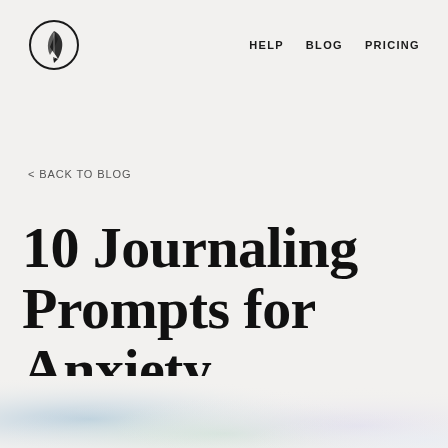[Figure (logo): Circular logo with a feather/quill pen icon inside a circle, black on light background]
HELP   BLOG   PRICING
< BACK TO BLOG
10 Journaling Prompts for Anxiety
[Figure (illustration): Soft pastel gradient blurred background in blues, greens, and lavender at bottom of page]